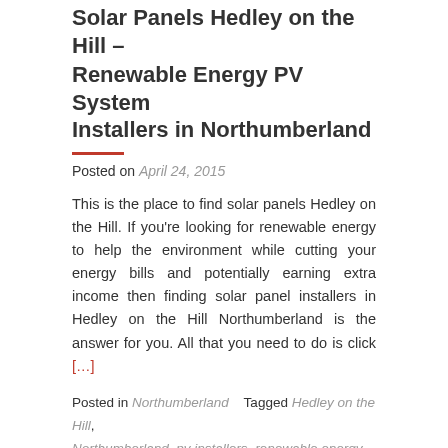Solar Panels Hedley on the Hill – Renewable Energy PV System Installers in Northumberland
Posted on April 24, 2015
This is the place to find solar panels Hedley on the Hill. If you're looking for renewable energy to help the environment while cutting your energy bills and potentially earning extra income then finding solar panel installers in Hedley on the Hill Northumberland is the answer for you. All that you need to do is click [...]
Posted in Northumberland   Tagged Hedley on the Hill, Northumberland, pv installers, renewable energy, solar panel installers, solar panels
Solar Panels Corbridge – Renewable Energy PV System Installers in Northumberland